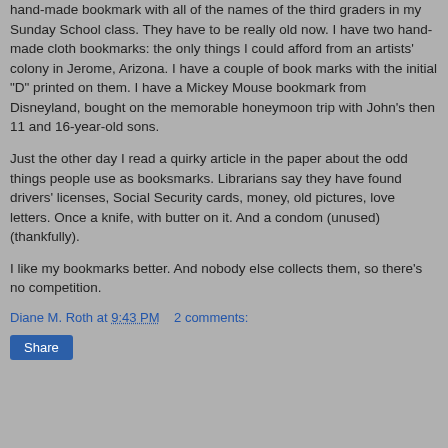hand-made bookmark with all of the names of the third graders in my Sunday School class. They have to be really old now. I have two hand-made cloth bookmarks: the only things I could afford from an artists' colony in Jerome, Arizona. I have a couple of book marks with the initial "D" printed on them. I have a Mickey Mouse bookmark from Disneyland, bought on the memorable honeymoon trip with John's then 11 and 16-year-old sons.
Just the other day I read a quirky article in the paper about the odd things people use as booksmarks. Librarians say they have found drivers' licenses, Social Security cards, money, old pictures, love letters. Once a knife, with butter on it. And a condom (unused)(thankfully).
I like my bookmarks better. And nobody else collects them, so there's no competition.
Diane M. Roth at 9:43 PM   2 comments:
Share